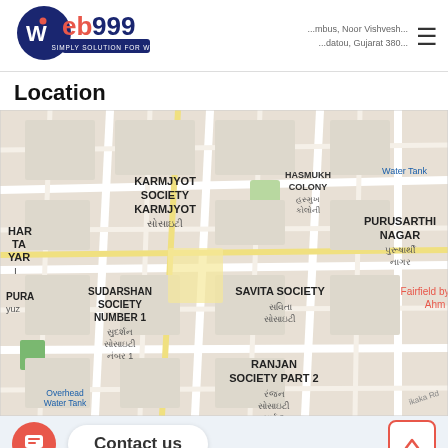[Figure (logo): Web999 logo - navy blue circle with white W, red 'eb' and blue '999', tagline 'SIMPLY SOLUTION FOR WEB']
...mumbus, Noor Vishvesh...datou, Gujarat 380...
Location
[Figure (map): Google Maps showing area with neighborhoods: KARMJYOT SOCIETY KARMJYOT, HASMUKH COLONY, Water Tank, PURUSARTHI NAGAR, SUDARSHAN SOCIETY NUMBER 1, SAVITA SOCIETY, RANJAN SOCIETY PART 2, Fairfield by Ahm, Overhead Water Tank, HAR TA YAR labels in Gujarati script too]
Contact us